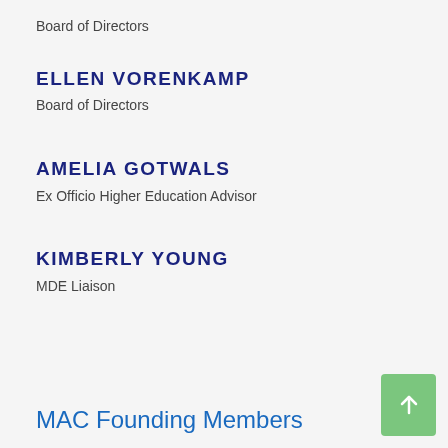Board of Directors
ELLEN VORENKAMP
Board of Directors
AMELIA GOTWALS
Ex Officio Higher Education Advisor
KIMBERLY YOUNG
MDE Liaison
MAC Founding Members